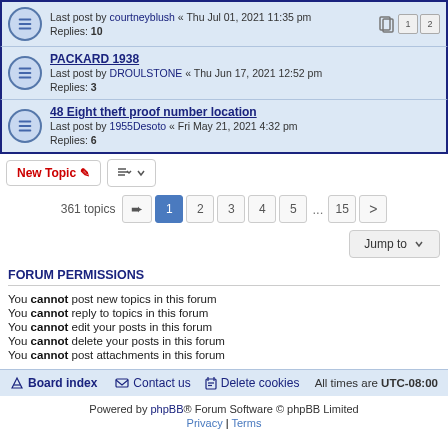Last post by courtneyblush « Thu Jul 01, 2021 11:35 pm
Replies: 10
PACKARD 1938
Last post by DROULSTONE « Thu Jun 17, 2021 12:52 pm
Replies: 3
48 Eight theft proof number location
Last post by 1955Desoto « Fri May 21, 2021 4:32 pm
Replies: 6
New Topic | sort button
361 topics  1 2 3 4 5 ... 15 >
Jump to
FORUM PERMISSIONS
You cannot post new topics in this forum
You cannot reply to topics in this forum
You cannot edit your posts in this forum
You cannot delete your posts in this forum
You cannot post attachments in this forum
Board index   Contact us   Delete cookies   All times are UTC-08:00
Powered by phpBB® Forum Software © phpBB Limited
Privacy | Terms